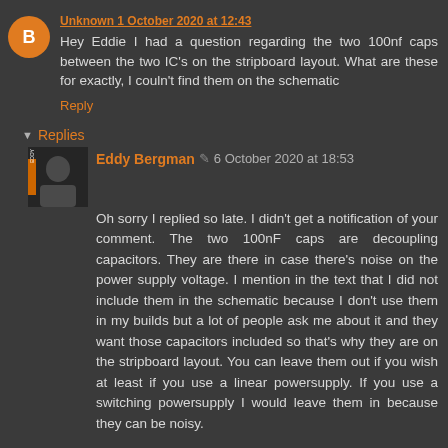Unknown 1 October 2020 at 12:43
Hey Eddie I had a question regarding the two 100nf caps between the two IC's on the stripboard layout. What are these for exactly, I couln't find them on the schematic
Reply
▾ Replies
Eddy Bergman ✎ 6 October 2020 at 18:53
Oh sorry I replied so late. I didn't get a notification of your comment. The two 100nF caps are decoupling capacitors. They are there in case there's noise on the power supply voltage. I mention in the text that I did not include them in the schematic because I don't use them in my builds but a lot of people ask me about it and they want those capacitors included so that's why they are on the stripboard layout. You can leave them out if you wish at least if you use a linear powersupply. If you use a switching powersupply I would leave them in because they can be noisy.